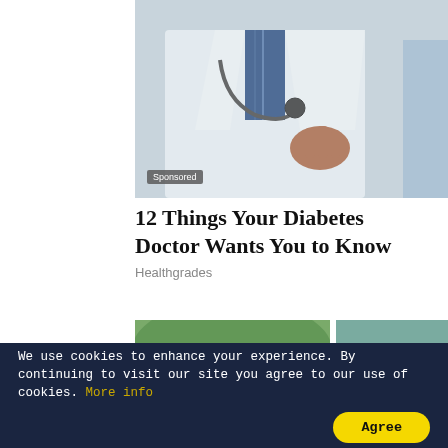[Figure (photo): Doctor in white coat with stethoscope gesturing with hands, partially visible patient to the right]
Sponsored
12 Things Your Diabetes Doctor Wants You to Know
Healthgrades
[Figure (photo): Group of smiling people outdoors, diverse adults]
[Figure (photo): Solid teal/sage green colored rectangle]
yabie.com
We use cookies to enhance your experience. By continuing to visit our site you agree to our use of cookies. More info
Agree